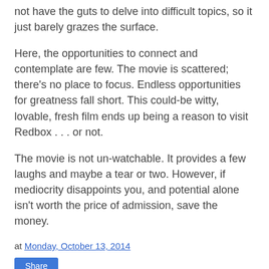not have the guts to delve into difficult topics, so it just barely grazes the surface.
Here, the opportunities to connect and contemplate are few. The movie is scattered; there’s no place to focus. Endless opportunities for greatness fall short. This could-be witty, lovable, fresh film ends up being a reason to visit Redbox . . . or not.
The movie is not un-watchable. It provides a few laughs and maybe a tear or two. However, if mediocrity disappoints you, and potential alone isn't worth the price of admission, save the money.
at Monday, October 13, 2014
Share
2 comments: